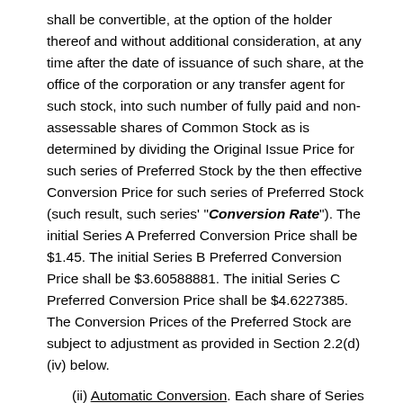shall be convertible, at the option of the holder thereof and without additional consideration, at any time after the date of issuance of such share, at the office of the corporation or any transfer agent for such stock, into such number of fully paid and non-assessable shares of Common Stock as is determined by dividing the Original Issue Price for such series of Preferred Stock by the then effective Conversion Price for such series of Preferred Stock (such result, such series' "Conversion Rate"). The initial Series A Preferred Conversion Price shall be $1.45. The initial Series B Preferred Conversion Price shall be $3.60588881. The initial Series C Preferred Conversion Price shall be $4.6227385. The Conversion Prices of the Preferred Stock are subject to adjustment as provided in Section 2.2(d)(iv) below.
(ii) Automatic Conversion. Each share of Series A Preferred, Series B Preferred and Series C Preferred